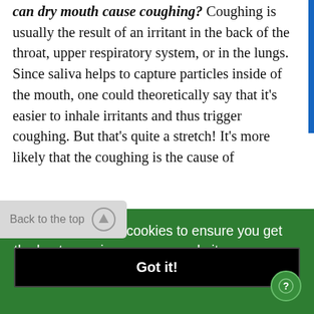can dry mouth cause coughing? Coughing is usually the result of an irritant in the back of the throat, upper respiratory system, or in the lungs. Since saliva helps to capture particles inside of the mouth, one could theoretically say that it's easier to inhale irritants and thus trigger coughing. But that's quite a stretch! It's more likely that the coughing is the cause of
This website uses cookies to ensure you get the best experience on our website.
Learn More
Back to the top
Got it!